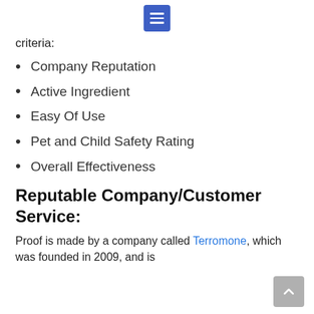criteria:
Company Reputation
Active Ingredient
Easy Of Use
Pet and Child Safety Rating
Overall Effectiveness
Reputable Company/Customer Service:
Proof is made by a company called Terromone, which was founded in 2009, and is